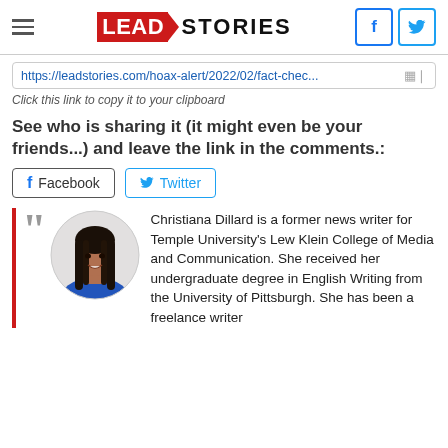Lead Stories — header navigation with logo, hamburger menu, Facebook and Twitter icons
https://leadstories.com/hoax-alert/2022/02/fact-chec...
Click this link to copy it to your clipboard
See who is sharing it (it might even be your friends...) and leave the link in the comments.:
Facebook   Twitter
[Figure (photo): Circular portrait photo of Christiana Dillard, a young woman with long braids, wearing a blue top, smiling against a light gray background]
Christiana Dillard is a former news writer for Temple University's Lew Klein College of Media and Communication. She received her undergraduate degree in English Writing from the University of Pittsburgh. She has been a freelance writer